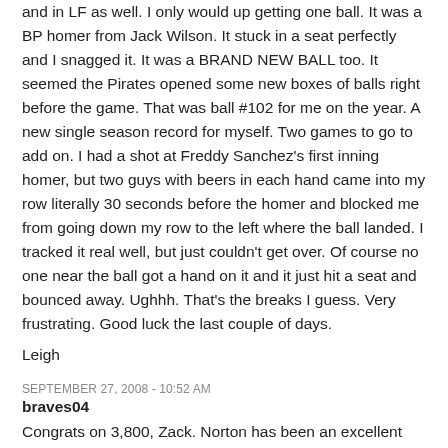and in LF as well. I only would up getting one ball. It was a BP homer from Jack Wilson. It stuck in a seat perfectly and I snagged it. It was a BRAND NEW BALL too. It seemed the Pirates opened some new boxes of balls right before the game. That was ball #102 for me on the year. A new single season record for myself. Two games to go to add on. I had a shot at Freddy Sanchez's first inning homer, but two guys with beers in each hand came into my row literally 30 seconds before the homer and blocked me from going down my row to the left where the ball landed. I tracked it real well, but just couldn't get over. Of course no one near the ball got a hand on it and it just hit a seat and bounced away. Ughhh. That's the breaks I guess. Very frustrating. Good luck the last couple of days.
Leigh
SEPTEMBER 27, 2008 - 10:52 AM
braves04
Congrats on 3,800, Zack. Norton has been an excellent pinch hitter for us this season, as Mets fans saw 2 weeks ago :) Those lineup cards are a unique source of autographs, especially Cox